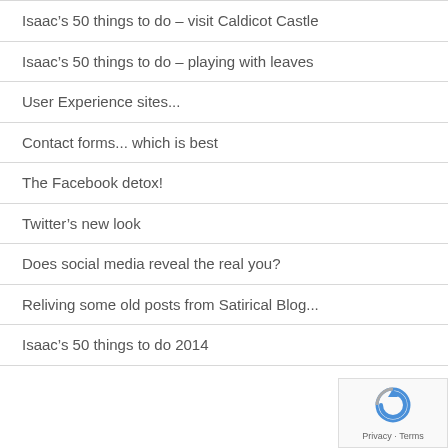Isaac's 50 things to do – visit Caldicot Castle
Isaac's 50 things to do – playing with leaves
User Experience sites...
Contact forms... which is best
The Facebook detox!
Twitter's new look
Does social media reveal the real you?
Reliving some old posts from Satirical Blog...
Isaac's 50 things to do 2014
[Figure (logo): reCAPTCHA privacy badge with spinning arrow logo and Privacy · Terms text]